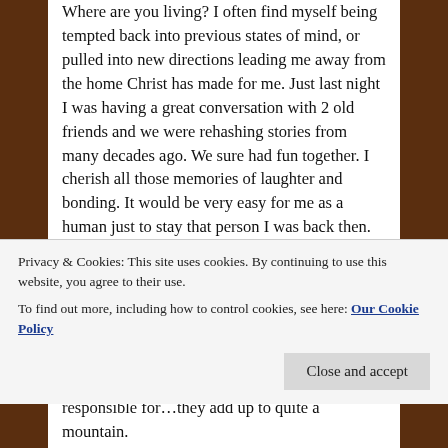Where are you living? I often find myself being tempted back into previous states of mind, or pulled into new directions leading me away from the home Christ has made for me. Just last night I was having a great conversation with 2 old friends and we were rehashing stories from many decades ago. We sure had fun together. I cherish all those memories of laughter and bonding. It would be very easy for me as a human just to stay that person I was back then. To not grow. To not transform. Just stay that guy and be that way. But in reality, that guy was a miserable train wreck always one step away from total disaster. I was free to have all that fun, but my soul was locked up in a place far worse than Alcatraz. Lost and rotting away. Directionless. Pointless. The
Privacy & Cookies: This site uses cookies. By continuing to use this website, you agree to their use.
To find out more, including how to control cookies, see here: Our Cookie Policy
responsible for…they add up to quite a mountain.